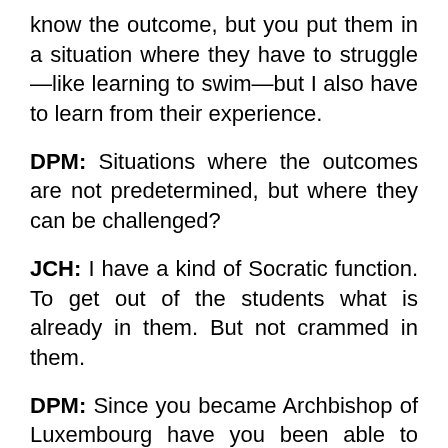know the outcome, but you put them in a situation where they have to struggle—like learning to swim—but I also have to learn from their experience.
DPM: Situations where the outcomes are not predetermined, but where they can be challenged?
JCH: I have a kind of Socratic function. To get out of the students what is already in them. But not crammed in them.
DPM: Since you became Archbishop of Luxembourg have you been able to continue your work in service learning?
JCH: I am now in my seventh year as